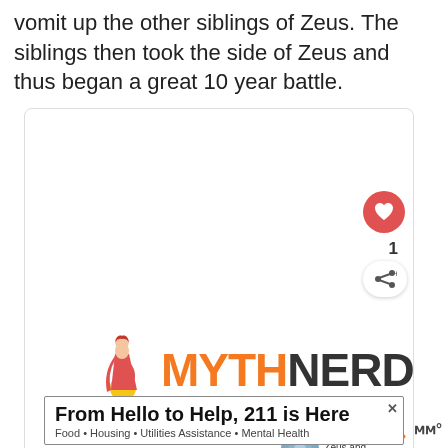vomit up the other siblings of Zeus. The siblings then took the side of Zeus and thus began a great 10 year battle.
[Figure (logo): MythNerd logo inside a bordered card with a heart/like button (count: 1), share button, and a 'What's Next' section showing Zeus and Cronus article thumbnail]
From Hello to Help, 211 is Here
Food · Housing · Utilities Assistance · Mental Health